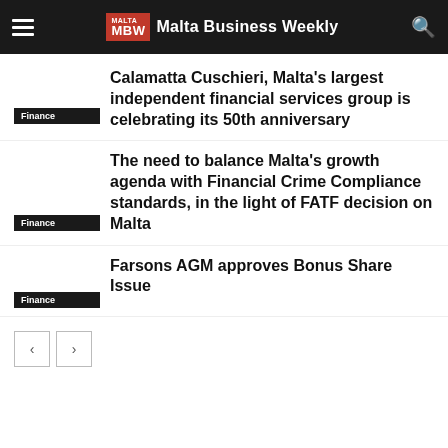Malta Business Weekly
Finance — Calamatta Cuschieri, Malta's largest independent financial services group is celebrating its 50th anniversary
Finance — The need to balance Malta's growth agenda with Financial Crime Compliance standards, in the light of FATF decision on Malta
Finance — Farsons AGM approves Bonus Share Issue